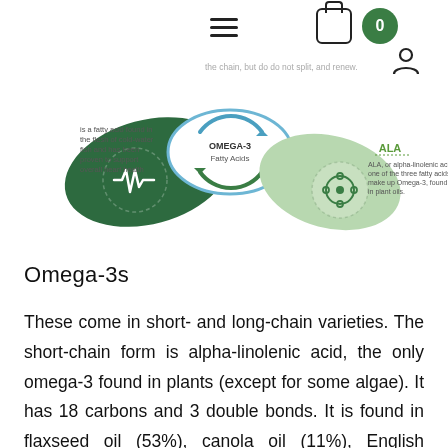Navigation header with hamburger menu, cart icon (0), and person icon
[Figure (infographic): Omega-3 Fatty Acids infographic showing interconnected pill-shaped segments. Left dark green segment shows a heart rate icon with text 'is a fatty acid found in the flesh of cold-water fish and has been proven to support overall heart health'. Center blue-outlined segment labeled 'OMEGA-3 Fatty Acids'. Right light green segment shows a cycle icon and is labeled 'ALA' with text 'ALA, or alpha-linolenic acid, is one of the three fatty acids that make up Omega-3, found mostly in plant oils.' Faded text at top right reads 'the chain, but do do not split, and renew.']
Omega-3s
These come in short- and long-chain varieties. The short-chain form is alpha-linolenic acid, the only omega-3 found in plants (except for some algae). It has 18 carbons and 3 double bonds. It is found in flaxseed oil (53%), canola oil (11%), English walnuts (9%), and soybean oil (7%). Alpha-